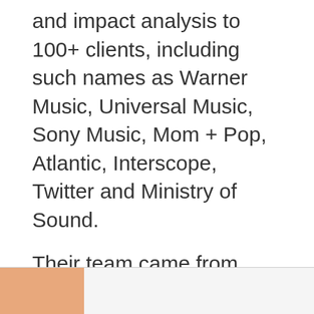and impact analysis to 100+ clients, including such names as Warner Music, Universal Music, Sony Music, Mom + Pop, Atlantic, Interscope, Twitter and Ministry of Sound.
Their team came from Apple, Facebook, Uber, Salesforce and Yelp.